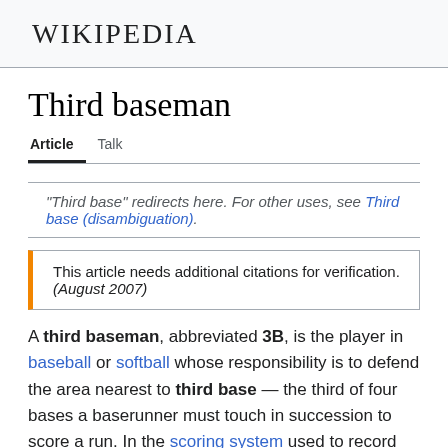Wikipedia
Third baseman
Article   Talk
"Third base" redirects here. For other uses, see Third base (disambiguation).
This article needs additional citations for verification. (August 2007)
A third baseman, abbreviated 3B, is the player in baseball or softball whose responsibility is to defend the area nearest to third base — the third of four bases a baserunner must touch in succession to score a run. In the scoring system used to record defensive plays, the third